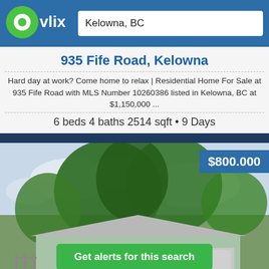[Figure (logo): Ovlix real estate website logo with green circle and white text, blue wordmark]
Kelowna, BC
935 Fife Road, Kelowna
Hard day at work? Come home to relax | Residential Home For Sale at 935 Fife Road with MLS Number 10260386 listed in Kelowna, BC at $1,150,000 ...
6 beds 4 baths 2514 sqft • 9 Days
[Figure (photo): Exterior photo of a residential home at 935 Fife Road, Kelowna with large trees in background and a price badge showing $800.000]
$800.000
Get alerts for this search